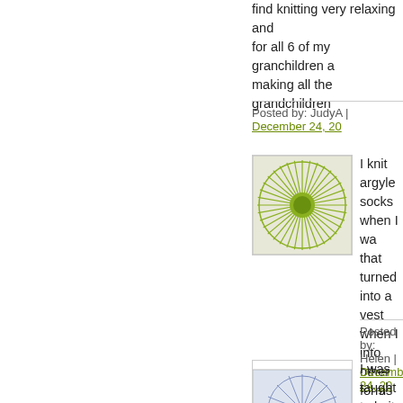find knitting very relaxing and for all 6 of my granchildren and making all the grandchildren
Posted by: JudyA | December 24, 20...
[Figure (illustration): Green sunburst avatar icon with radiating lines and central circle]
I knit argyle socks when I was... that turned into a vest when I... into other forms of needlewor... a prolific knitter and give mos... joy to my heart.
Posted by: Helen | December 24, 20...
[Figure (illustration): Blue geometric snowflake/star pattern avatar icon]
I was taught to knit in 4-H ma... knitting frenzy.
Posted by: Therese | December 24, ...
« Pre...
The comments to this entry are closed.